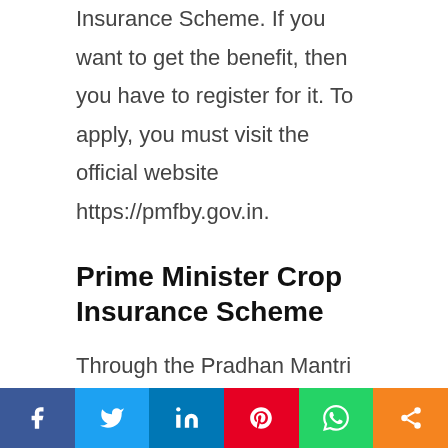Insurance Scheme. If you want to get the benefit, then you have to register for it. To apply, you must visit the official website https://pmfby.gov.in.
Prime Minister Crop Insurance Scheme
Through the Pradhan Mantri Fasal Bima Yojana, if the crop of farmer brothers is damaged in any way due to natural calamity, then the agricultural insurance company will give them insurance.